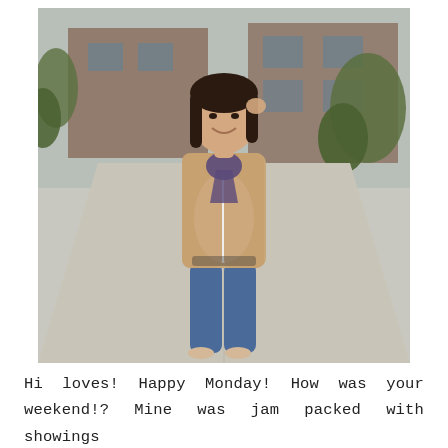[Figure (photo): A woman standing outdoors on a concrete driveway in front of a brick house with trees and shrubs. She is wearing blue skinny jeans, a white blouse, a tan/camel blazer, a purple printed neck scarf, and nude heeled sandals. She is smiling and touching her hair with one hand, with her other hand in her pocket.]
Hi loves! Happy Monday! How was your weekend!? Mine was jam packed with showings